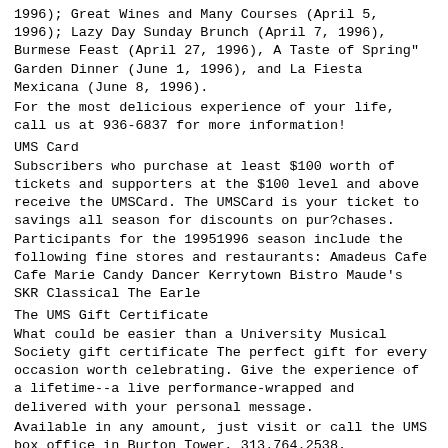1996); Great Wines and Many Courses (April 5, 1996); Lazy Day Sunday Brunch (April 7, 1996), Burmese Feast (April 27, 1996), A Taste of Spring" Garden Dinner (June 1, 1996), and La Fiesta Mexicana (June 8, 1996).
For the most delicious experience of your life, call us at 936-6837 for more information!
UMS Card
Subscribers who purchase at least $100 worth of tickets and supporters at the $100 level and above receive the UMSCard. The UMSCard is your ticket to savings all season for discounts on pur?chases. Participants for the 19951996 season include the following fine stores and restaurants: Amadeus Cafe Cafe Marie Candy Dancer Kerrytown Bistro Maude's SKR Classical The Earle
The UMS Gift Certificate
What could be easier than a University Musical Society gift certificate The perfect gift for every occasion worth celebrating. Give the experience of a lifetime--a live performance-wrapped and delivered with your personal message.
Available in any amount, just visit or call the UMS box office in Burton Tower, 313.764.2538.
Advertising
with the University Musical Society
Five years ago, UMS began publishing expanded program